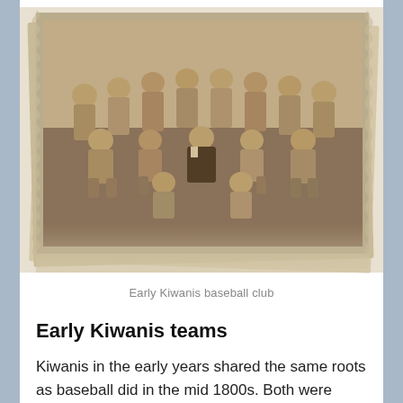[Figure (photo): Vintage sepia-toned photograph of an early Kiwanis baseball club team, showing approximately 13 men in baseball uniforms posed in two rows, with one man in a suit in the center. The photo has aged, deckled edges typical of early 20th century photographs.]
Early Kiwanis baseball club
Early Kiwanis teams
Kiwanis in the early years shared the same roots as baseball did in the mid 1800s. Both were “clubs,” fraternal organizations of middle class and wealthy business owners who paid membership